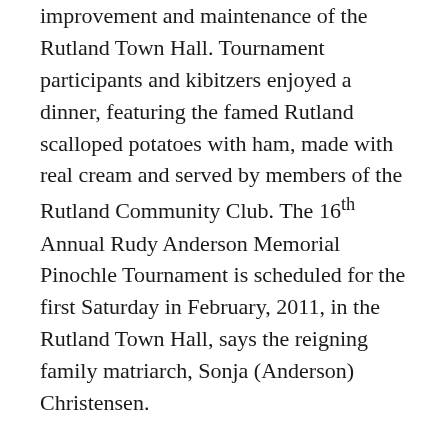improvement and maintenance of the Rutland Town Hall. Tournament participants and kibitzers enjoyed a dinner, featuring the famed Rutland scalloped potatoes with ham, made with real cream and served by members of the Rutland Community Club. The 16th Annual Rudy Anderson Memorial Pinochle Tournament is scheduled for the first Saturday in February, 2011, in the Rutland Town Hall, says the reigning family matriarch, Sonja (Anderson) Christensen.
The new Lariat Bar also saw plenty of action last Saturday, February 6, as a local snowmobile club made two stops there during the day, the first at 10:00 a.m. at the beginning of their run, and concluding their day with a dining and refreshments at the Lariat later in the